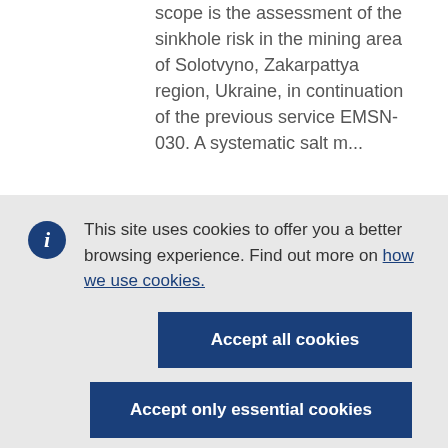scope is the assessment of the sinkhole risk in the mining area of Solotvyno, Zakarpattya region, Ukraine, in continuation of the previous service EMSN-030. A systematic salt m...
This site uses cookies to offer you a better browsing experience. Find out more on how we use cookies.
Accept all cookies
Accept only essential cookies